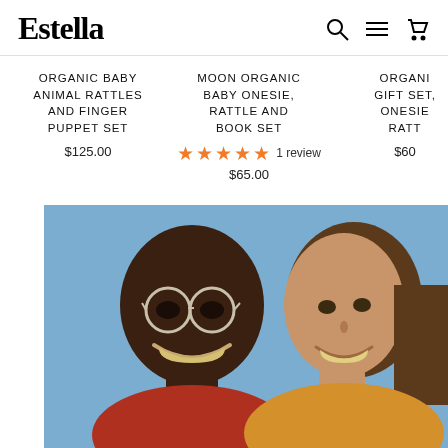Estella
ORGANIC BABY ANIMAL RATTLES AND FINGER PUPPET SET
$125.00
MOON ORGANIC BABY ONESIE, RATTLE AND BOOK SET
★★★★★ 1 review
$65.00
ORGANI GIFT SET, ONESIE RATT $60
[Figure (photo): Two smiling adults posing together outdoors against a blue sky background. Left person is a Black man wearing round glasses and a red top. Right person is a woman with brown hair wearing a yellow/orange top.]